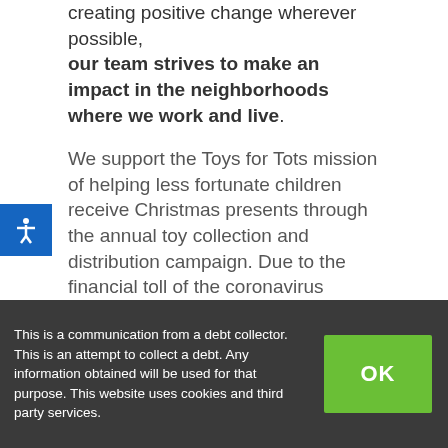creating positive change wherever possible, our team strives to make an impact in the neighborhoods where we work and live.
We support the Toys for Tots mission of helping less fortunate children receive Christmas presents through the annual toy collection and distribution campaign. Due to the financial toll of the coronavirus pandemic, many more families are seeking support from Toys for Tots this year, and we are proud to support this effort.
This is a communication from a debt collector. This is an attempt to collect a debt. Any information obtained will be used for that purpose. This website uses cookies and third party services.